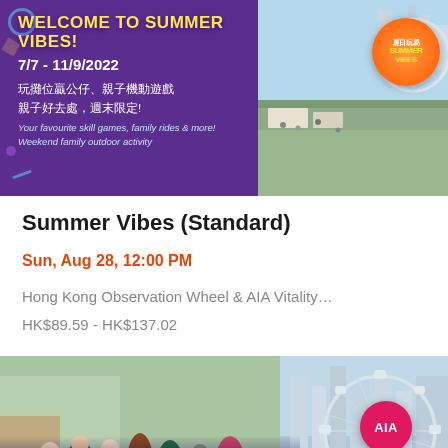[Figure (photo): Purple promotional banner for Summer Vibes event at Hong Kong Observation Wheel, 7/7 - 11/9/2022, with Chinese text and aerial photo of the venue]
Summer Vibes (Standard)
Sun, Aug 28, 12:00 PM
Hong Kong Observation Wheel & AIA Vitality…
HK$89.59 - HK$137.02
[Figure (photo): Second Summer Vibes promotional banner showing crowd scene, Chinese title 中環「夏日派對」登場, Welcome to Summer Vibes!, 7/7 - 11/9/2022, with AIA Ferris wheel and people at event]